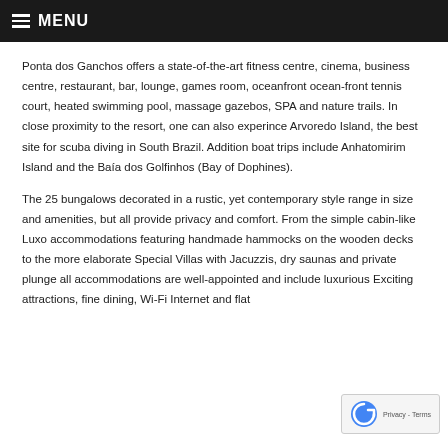MENU
Ponta dos Ganchos offers a state-of-the-art fitness centre, cinema, business centre, restaurant, bar, lounge, games room, oceanfront ocean-front tennis court, heated swimming pool, massage gazebos, SPA and nature trails. In close proximity to the resort, one can also experince Arvoredo Island, the best site for scuba diving in South Brazil. Addition boat trips include Anhatomirim Island and the Baía dos Golfinhos (Bay of Dophines).
The 25 bungalows decorated in a rustic, yet contemporary style range in size and amenities, but all provide privacy and comfort. From the simple cabin-like Luxo accommodations featuring handmade hammocks on the wooden decks to the more elaborate Special Villas with Jacuzzis, dry saunas and private plunge all accommodations are well-appointed and include luxurious Exciting attractions, fine dining, Wi-Fi Internet and flat